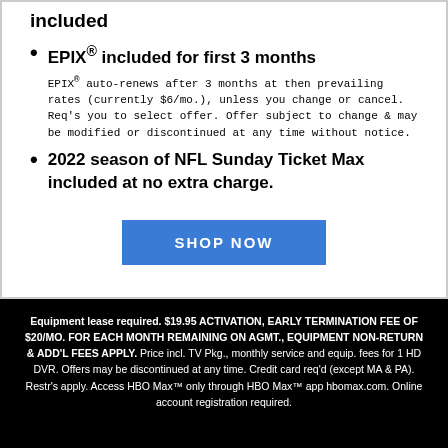included
EPIX® included for first 3 months
EPIX® auto-renews after 3 months at then prevailing rates (currently $6/mo.), unless you change or cancel. Req's you to select offer. Offer subject to change & may be modified or discontinued at any time without notice.
2022 season of NFL Sunday Ticket Max included at no extra charge.
SHOP NOW
Equipment lease required. $19.95 ACTIVATION, EARLY TERMINATION FEE OF $20/MO. FOR EACH MONTH REMAINING ON AGMT., EQUIPMENT NON-RETURN & ADD'L FEES APPLY. Price incl. TV Pkg., monthly service and equip. fees for 1 HD DVR. Offers may be discontinued at any time. Credit card req'd (except MA & PA). Restr's apply. Access HBO Max™ only through HBO Max™ app hbomax.com. Online account registration required.